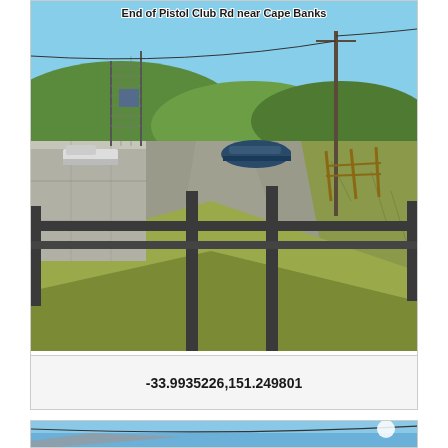[Figure (photo): Outdoor photo showing end of Pistol Club Road near Cape Banks. A metal gate/barrier spans a road, with a concrete wall on the left, cars parked in the background, green hills, utility poles, and a road leading away from the viewer. Grassy verge in foreground.]
-33.9935226,151.249801
[Figure (photo): Partial view of another outdoor photo showing a blue sky and what appears to be a rooftop or structure, partially cut off at the bottom of the page.]